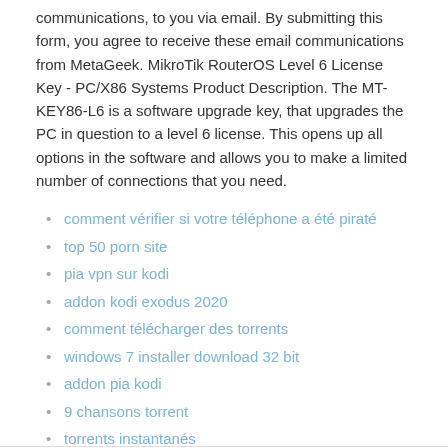communications, to you via email. By submitting this form, you agree to receive these email communications from MetaGeek. MikroTik RouterOS Level 6 License Key - PC/X86 Systems Product Description. The MT-KEY86-L6 is a software upgrade key, that upgrades the PC in question to a level 6 license. This opens up all options in the software and allows you to make a limited number of connections that you need.
comment vérifier si votre téléphone a été piraté
top 50 porn site
pia vpn sur kodi
addon kodi exodus 2020
comment télécharger des torrents
windows 7 installer download 32 bit
addon pia kodi
9 chansons torrent
torrents instantanés